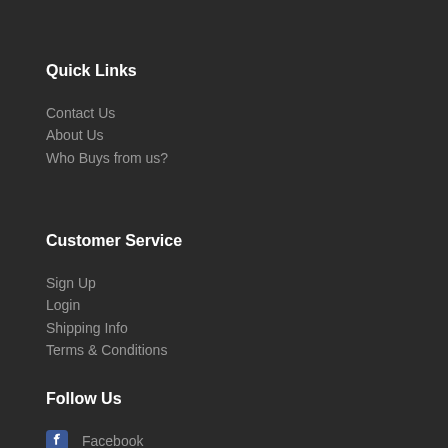Quick Links
Contact Us
About Us
Who Buys from us?
Customer Service
Sign Up
Login
Shipping Info
Terms & Conditions
Follow Us
Facebook
Instagram